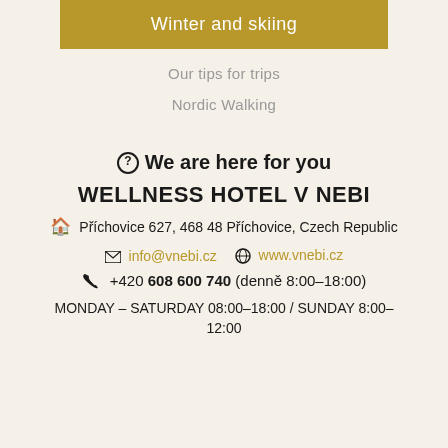Winter and skiing
Our tips for trips
Nordic Walking
We are here for you
WELLNESS HOTEL V NEBI
Příchovice 627, 468 48 Příchovice, Czech Republic
info@vnebi.cz   www.vnebi.cz
+420 608 600 740 (denně 8:00–18:00)
MONDAY – SATURDAY 08:00–18:00 / SUNDAY 8:00–12:00